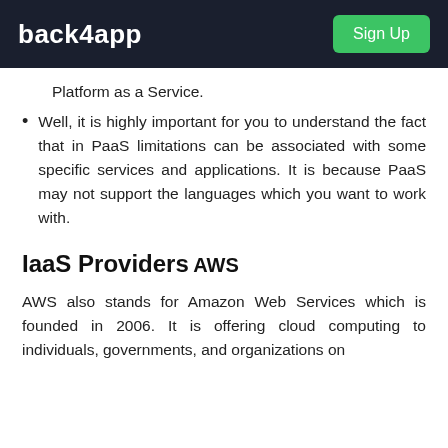back4app | Sign Up
Platform as a Service.
Well, it is highly important for you to understand the fact that in PaaS limitations can be associated with some specific services and applications. It is because PaaS may not support the languages which you want to work with.
IaaS Providers
AWS
AWS also stands for Amazon Web Services which is founded in 2006. It is offering cloud computing to individuals, governments, and organizations on